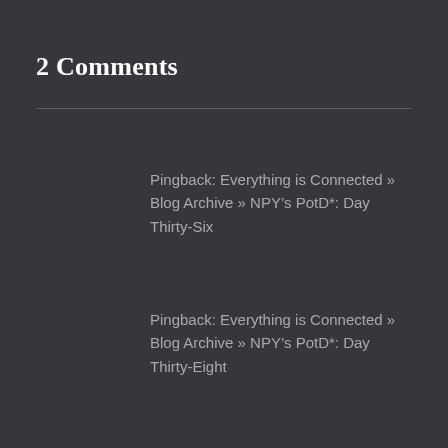2 Comments
Pingback: Everything is Connected » Blog Archive » NPY’s PotD*: Day Thirty-Six
Pingback: Everything is Connected » Blog Archive » NPY’s PotD*: Day Thirty-Eight